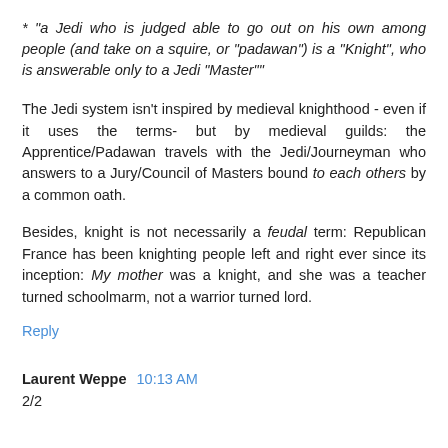* "a Jedi who is judged able to go out on his own among people (and take on a squire, or "padawan") is a "Knight", who is answerable only to a Jedi "Master""
The Jedi system isn't inspired by medieval knighthood - even if it uses the terms- but by medieval guilds: the Apprentice/Padawan travels with the Jedi/Journeyman who answers to a Jury/Council of Masters bound to each others by a common oath.
Besides, knight is not necessarily a feudal term: Republican France has been knighting people left and right ever since its inception: My mother was a knight, and she was a teacher turned schoolmarm, not a warrior turned lord.
Reply
Laurent Weppe  10:13 AM
2/2